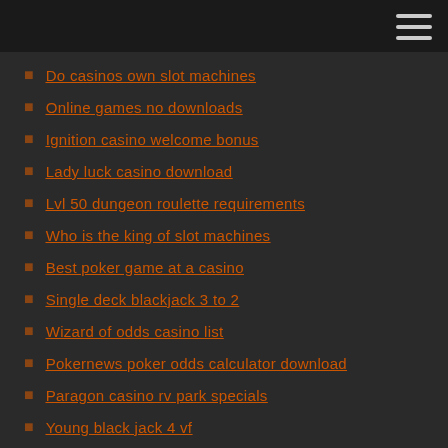Do casinos own slot machines
Online games no downloads
Ignition casino welcome bonus
Lady luck casino download
Lvl 50 dungeon roulette requirements
Who is the king of slot machines
Best poker game at a casino
Single deck blackjack 3 to 2
Wizard of odds casino list
Pokernews poker odds calculator download
Paragon casino rv park specials
Young black jack 4 vf
Points poker chinois open face
Real money slot machines with bee games